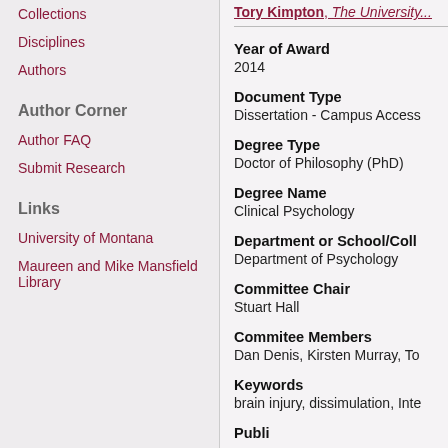Collections
Disciplines
Authors
Author Corner
Author FAQ
Submit Research
Links
University of Montana
Maureen and Mike Mansfield Library
Tory Kimpton, The University...
Year of Award
2014
Document Type
Dissertation - Campus Access
Degree Type
Doctor of Philosophy (PhD)
Degree Name
Clinical Psychology
Department or School/Col...
Department of Psychology
Committee Chair
Stuart Hall
Commitee Members
Dan Denis, Kirsten Murray, To...
Keywords
brain injury, dissimulation, Inte...
Publi...